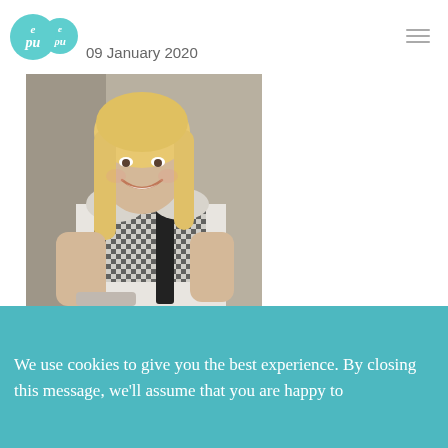09 January 2020
[Figure (photo): A smiling woman with blonde hair wearing a black and white checked sleeveless top, standing outdoors against a stone wall background]
We use cookies to give you the best experience. By closing this message, we'll assume that you are happy to